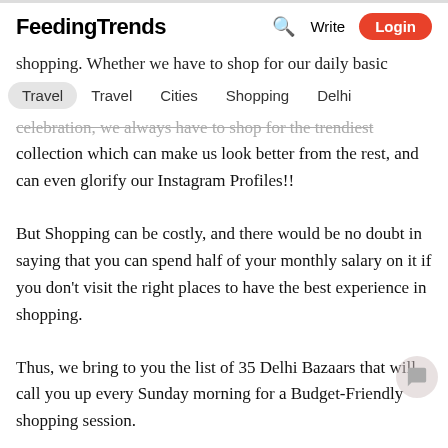FeedingTrends  Search  Write  Login
shopping. Whether we have to shop for our daily basic
Travel   Travel   Cities   Shopping   Delhi
celebration, we always have to shop for the trendiest collection which can make us look better from the rest, and can even glorify our Instagram Profiles!!
But Shopping can be costly, and there would be no doubt in saying that you can spend half of your monthly salary on it if you don't visit the right places to have the best experience in shopping.
Thus, we bring to you the list of 35 Delhi Bazaars that will call you up every Sunday morning for a Budget-Friendly shopping session.